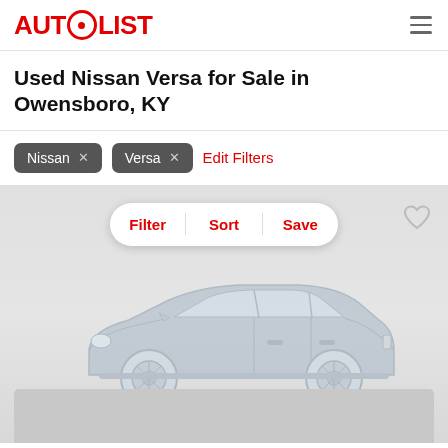AUTOLIST
Used Nissan Versa for Sale in Owensboro, KY
Nissan × Versa × Edit Filters
[Figure (screenshot): Car listing interface with Filter, Sort, Save action bar, heart/save icon, and a light blue-grey sedan car illustration on a grey gradient background, with a placeholder card at the bottom]